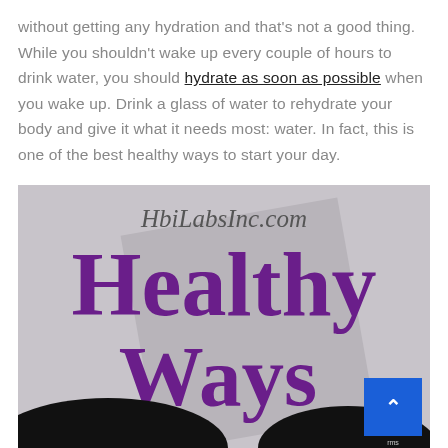without getting any hydration and that's not a good thing. While you shouldn't wake up every couple of hours to drink water, you should hydrate as soon as possible when you wake up. Drink a glass of water to rehydrate your body and give it what it needs most: water. In fact, this is one of the best healthy ways to start your day.
[Figure (illustration): Promotional image for HbiLabsInc.com showing the text 'Healthy Ways' in large purple brush-script font over a gray background, with two people with dark hair visible at the bottom of the image.]